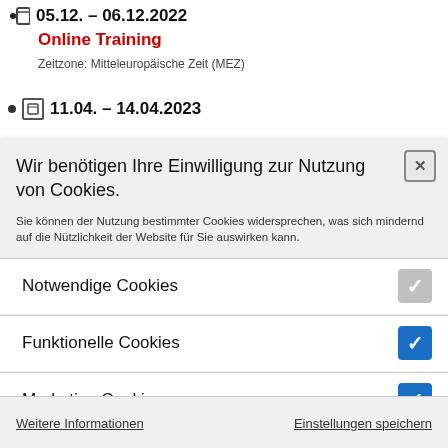05.12. – 06.12.2022
Online Training
Zeitzone: Mitteleuropäische Zeit (MEZ)
11.04. – 14.04.2023
Wir benötigen Ihre Einwilligung zur Nutzung von Cookies.
Sie können der Nutzung bestimmter Cookies widersprechen, was sich mindernd auf die Nützlichkeit der Website für Sie auswirken kann.
Notwendige Cookies
Funktionelle Cookies
Marketing Cookies
Weitere Informationen
Einstellungen speichern